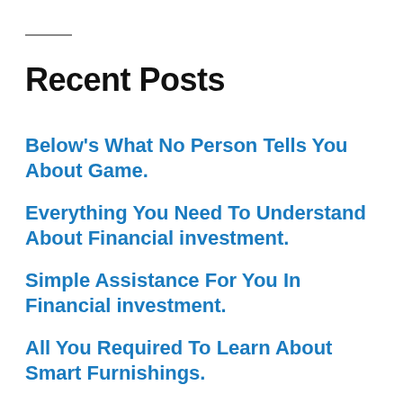Recent Posts
Below’s What No Person Tells You About Game.
Everything You Need To Understand About Financial investment.
Simple Assistance For You In Financial investment.
All You Required To Learn About Smart Furnishings.